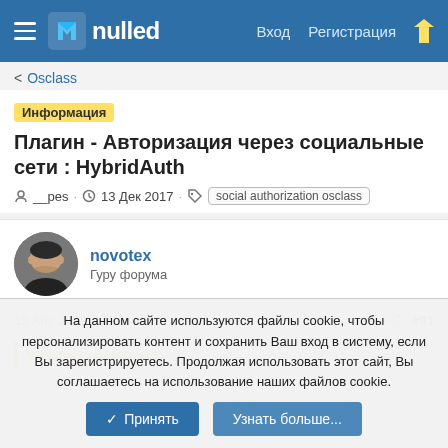nulled — Вход  Регистрация
< Osclass
Информация  Плагин - Авторизация через социальные сети : HybridAuth
__pes · 13 Дек 2017 · social authorization osclass
novotex
Гуру форума
12 Апр 2019  #91
Wetalya1 написал(а):
На данном сайте используются файлы cookie, чтобы персонализировать контент и сохранить Ваш вход в систему, если Вы зарегистрируетесь. Продолжая использовать этот сайт, Вы соглашаетесь на использование наших файлов cookie.
✓ Принять  Узнать больше...